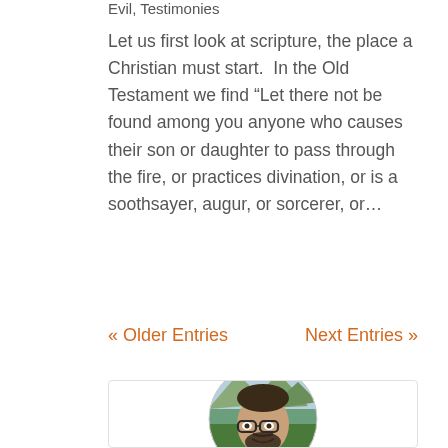Evil, Testimonies
Let us first look at scripture, the place a Christian must start.  In the Old Testament we find “Let there not be found among you anyone who causes their son or daughter to pass through the fire, or practices divination, or is a soothsayer, augur, or sorcerer, or…
« Older Entries    Next Entries »
[Figure (photo): Circular profile photo of a man with glasses and beard, smiling, with a green mountainous background]